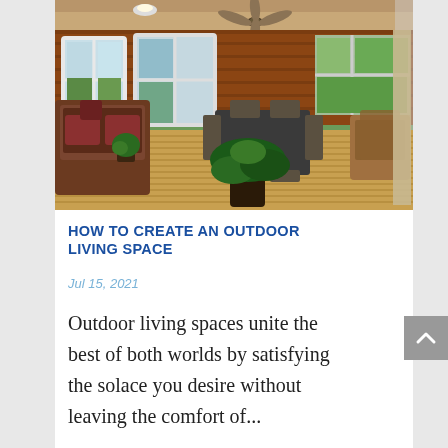[Figure (photo): A screened or covered porch/deck with brick walls, wicker furniture, potted plants, ceiling fans, and views of greenery outside. The deck has wooden plank flooring, a dining table with chairs, and various seating areas.]
HOW TO CREATE AN OUTDOOR LIVING SPACE
Jul 15, 2021
Outdoor living spaces unite the best of both worlds by satisfying the solace you desire without leaving the comfort of...